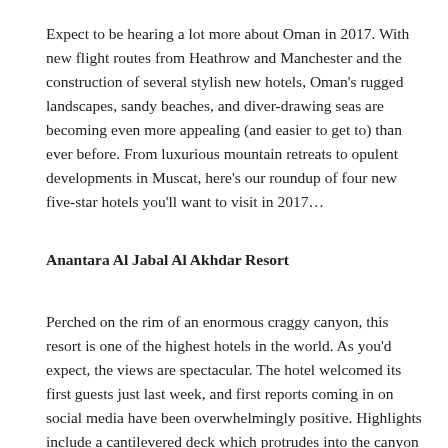Expect to be hearing a lot more about Oman in 2017. With new flight routes from Heathrow and Manchester and the construction of several stylish new hotels, Oman's rugged landscapes, sandy beaches, and diver-drawing seas are becoming even more appealing (and easier to get to) than ever before. From luxurious mountain retreats to opulent developments in Muscat, here's our roundup of four new five-star hotels you'll want to visit in 2017…
Anantara Al Jabal Al Akhdar Resort
Perched on the rim of an enormous craggy canyon, this resort is one of the highest hotels in the world. As you'd expect, the views are spectacular. The hotel welcomed its first guests just last week, and first reports coming in on social media have been overwhelmingly positive. Highlights include a cantilevered deck which protrudes into the canyon (arguably the best place in Oman to watch the sunset), a sparkling infinity pool and friendly, infinitely accommodating staff. Its mountain location facilitates a host of adventure sports (rock climbing, hiking and biking), making a refreshing change from coastal resorts. It'd be ideal for a twin-centre holiday.